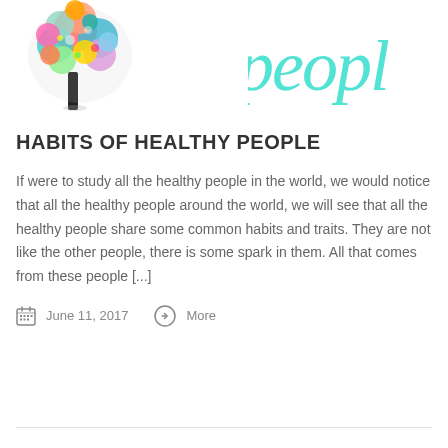[Figure (illustration): Colorful tree with multicolored foliage and a black trunk on the left side of the page header]
[Figure (illustration): Cursive teal/turquoise script text reading 'people' partially visible on the right side of the page header]
HABITS OF HEALTHY PEOPLE
If were to study all the healthy people in the world, we would notice that all the healthy people around the world, we will see that all the healthy people share some common habits and traits. They are not like the other people, there is some spark in them. All that comes from these people [...]
June 11, 2017    More